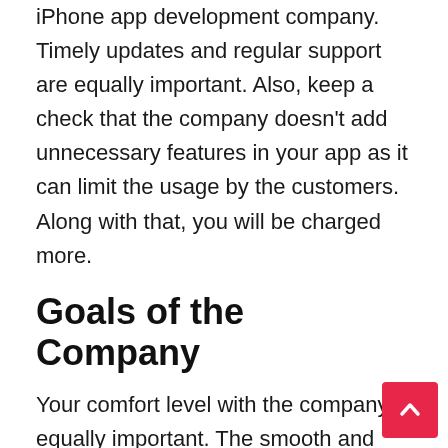iPhone app development company. Timely updates and regular support are equally important. Also, keep a check that the company doesn't add unnecessary features in your app as it can limit the usage by the customers. Along with that, you will be charged more.
Goals of the Company
Your comfort level with the company is equally important. The smooth and healthy working can only be possible if the is a comfort and understanding among both the parties. It is necessary to check whether the goals of your iPhone app development company match your goals and vision. Similar goals lead to better performance, accurate results, and less time consuming.